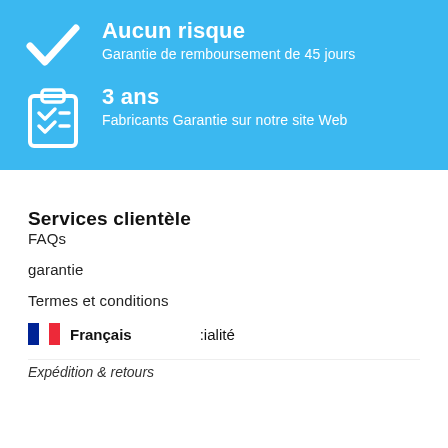[Figure (infographic): Blue banner with checkmark icon, title 'Aucun risque', subtitle 'Garantie de remboursement de 45 jours']
[Figure (infographic): Blue banner with clipboard/checklist icon, title '3 ans', subtitle 'Fabricants Garantie sur notre site Web']
Services clientèle
FAQs
garantie
Termes et conditions
Français   :ialité
Expédition & retours